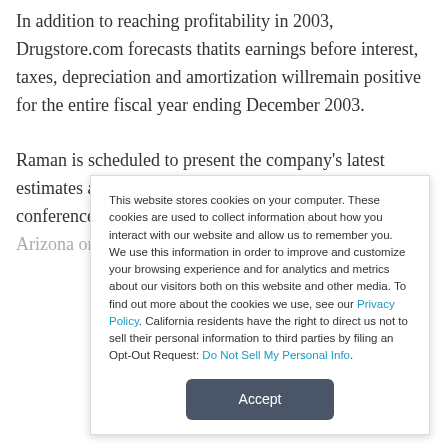In addition to reaching profitability in 2003, Drugstore.com forecasts thatits earnings before interest, taxes, depreciation and amortization willremain positive for the entire fiscal year ending December 2003.
Raman is scheduled to present the company's latest estimates at an Internet,software and networking conference sponsored by Morgan Stanley in Scottsdale, Arizona on Monday...
This website stores cookies on your computer. These cookies are used to collect information about how you interact with our website and allow us to remember you. We use this information in order to improve and customize your browsing experience and for analytics and metrics about our visitors both on this website and other media. To find out more about the cookies we use, see our Privacy Policy. California residents have the right to direct us not to sell their personal information to third parties by filing an Opt-Out Request: Do Not Sell My Personal Info.